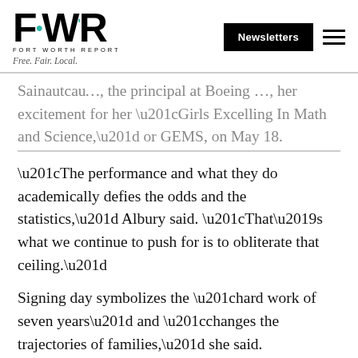FWR Fort Worth Report — Free. Fair. Local. | Newsletters
Sainautcau…, the principal at Boeing …, her excitement for her “Girls Excelling In Math and Science,” or GEMS, on May 18.
“The performance and what they do academically defies the odds and the statistics,” Albury said. “That’s what we continue to push for is to obliterate that ceiling.”
Signing day symbolizes the “hard work of seven years” and “changes the trajectories of families,” she said.